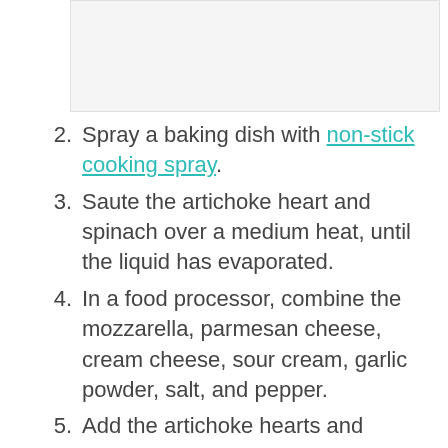[Figure (photo): Image placeholder at top of page]
2. Spray a baking dish with non-stick cooking spray.
3. Saute the artichoke heart and spinach over a medium heat, until the liquid has evaporated.
4. In a food processor, combine the mozzarella, parmesan cheese, cream cheese, sour cream, garlic powder, salt, and pepper.
5. Add the artichoke hearts and